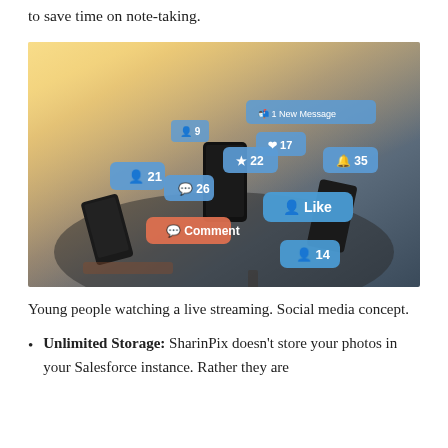to save time on note-taking.
[Figure (photo): Young people holding smartphones, with social media notification bubbles floating above (Like, Comment, follower counts: 21, 26, 22, 35, 14). Social media concept photo.]
Young people watching a live streaming. Social media concept.
Unlimited Storage: SharinPix doesn't store your photos in your Salesforce instance. Rather they are